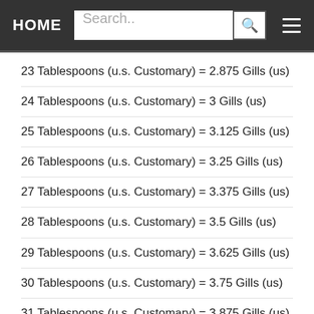HOME | Search..
23 Tablespoons (u.s. Customary) = 2.875 Gills (us)
24 Tablespoons (u.s. Customary) = 3 Gills (us)
25 Tablespoons (u.s. Customary) = 3.125 Gills (us)
26 Tablespoons (u.s. Customary) = 3.25 Gills (us)
27 Tablespoons (u.s. Customary) = 3.375 Gills (us)
28 Tablespoons (u.s. Customary) = 3.5 Gills (us)
29 Tablespoons (u.s. Customary) = 3.625 Gills (us)
30 Tablespoons (u.s. Customary) = 3.75 Gills (us)
31 Tablespoons (u.s. Customary) = 3.875 Gills (us)
32 Tablespoons (u.s. Customary) = 4 Gills (us)
33 Tablespoons (u.s. Customary) = 4.125 Gills (us)